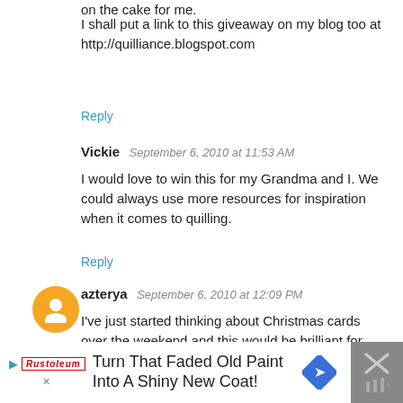on the cake for me.
I shall put a link to this giveaway on my blog too at http://quilliance.blogspot.com
Reply
Vickie  September 6, 2010 at 11:53 AM
I would love to win this for my Grandma and I. We could always use more resources for inspiration when it comes to quilling.
Reply
azterya  September 6, 2010 at 12:09 PM
I've just started thinking about Christmas cards over the weekend and this would be brilliant for ideas.
Reply
[Figure (infographic): Advertisement banner: Turn That Faded Old Paint Into A Shiny New Coat! with Rustoleum logo and navigation arrow icon]